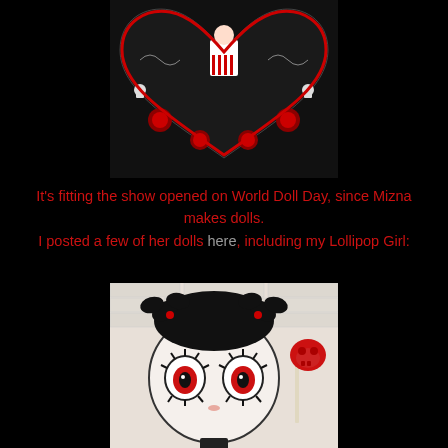[Figure (photo): A heart-shaped black velvet box or pillow with gothic design featuring a doll girl in red and white striped dress at center, surrounded by red roses, white scrollwork, and skull motifs on black background.]
It's fitting the show opened on World Doll Day, since Mizna makes dolls.
I posted a few of her dolls here, including my Lollipop Girl:
[Figure (photo): Close-up of a gothic-style doll head with pale white face, large dark eyes with gear/cog-like eyelashes, black hair with multiple black bows tied with red accents. The doll holds a red skull-shaped lollipop on the right side. Background is a white brick wall.]